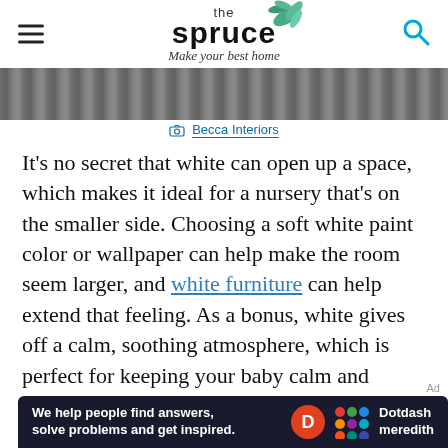the spruce — Make your best home
[Figure (photo): Partial view of a patterned wallpaper or fabric in dark tones]
Becca Interiors
It's no secret that white can open up a space, which makes it ideal for a nursery that's on the smaller side. Choosing a soft white paint color or wallpaper can help make the room seem larger, and white furniture can help extend that feeling. As a bonus, white gives off a calm, soothing atmosphere, which is perfect for keeping your baby calm and soothed.
[Figure (infographic): Dotdash Meredith advertisement banner: 'We help people find answers, solve problems and get inspired.']